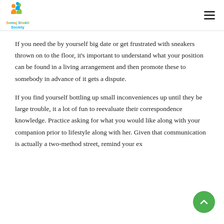Samaj Shakti Society
If you need the by yourself big date or get frustrated with sneakers thrown on to the floor, it's important to understand what your position can be found in a living arrangement and then promote these to somebody in advance of it gets a dispute.
If you find yourself bottling up small inconveniences up until they be large trouble, it a lot of fun to reevaluate their correspondence knowledge. Practice asking for what you would like along with your companion prior to lifestyle along with her. Given that communication is actually a two-method street, remind your ex